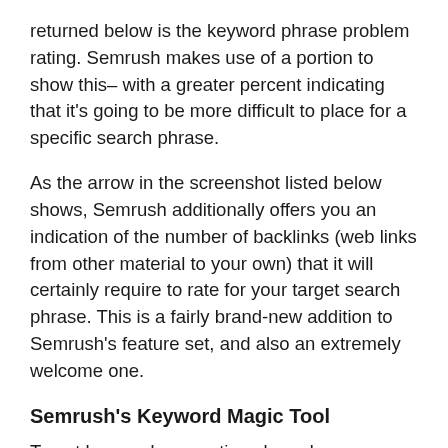returned below is the keyword phrase problem rating. Semrush makes use of a portion to show this– with a greater percent indicating that it's going to be more difficult to place for a specific search phrase.
As the arrow in the screenshot listed below shows, Semrush additionally offers you an indication of the number of backlinks (web links from other material to your own) that it will certainly require to rate for your target search phrase. This is a fairly brand-new addition to Semrush's feature set, and also an extremely welcome one.
Semrush's Keyword Magic Tool
To get keyword suggestions based upon an